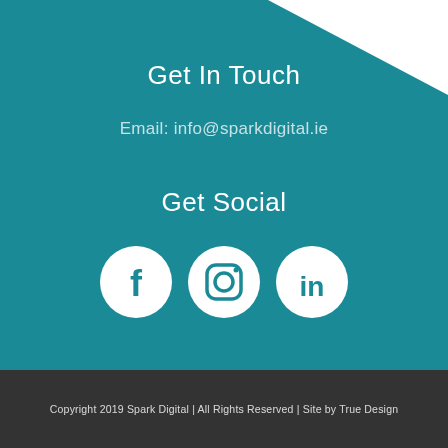Get In Touch
Email: info@sparkdigital.ie
Get Social
[Figure (illustration): Three white circular social media icons on teal background: Facebook (f), Instagram (camera), LinkedIn (in)]
Copyright 2019 Spark Digital | All Rights Reserved | Site by True Design